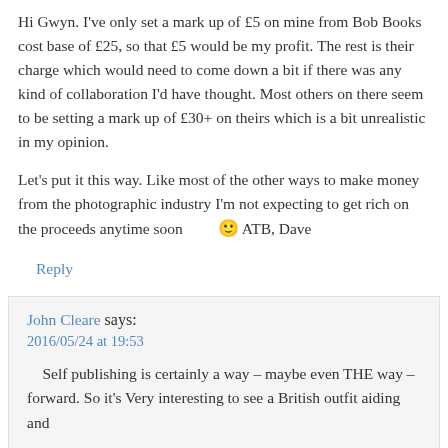Hi Gwyn. I've only set a mark up of £5 on mine from Bob Books cost base of £25, so that £5 would be my profit. The rest is their charge which would need to come down a bit if there was any kind of collaboration I'd have thought. Most others on there seem to be setting a mark up of £30+ on theirs which is a bit unrealistic in my opinion.
Let's put it this way. Like most of the other ways to make money from the photographic industry I'm not expecting to get rich on the proceeds anytime soon 🙂 ATB, Dave
Reply
John Cleare says:
2016/05/24 at 19:53
Self publishing is certainly a way – maybe even THE way – forward. So it's Very interesting to see a British outfit aiding and